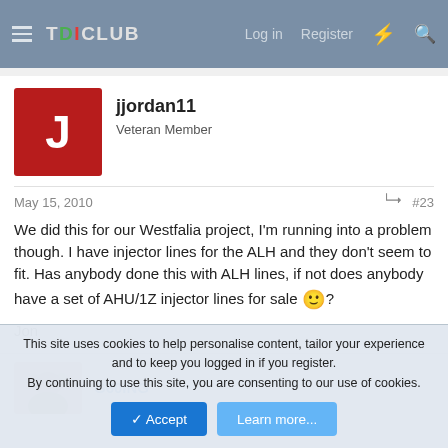TDICLUB — Log in  Register
jjordan11
Veteran Member
May 15, 2010  #23
We did this for our Westfalia project, I'm running into a problem though. I have injector lines for the ALH and they don't seem to fit. Has anybody done this with ALH lines, if not does anybody have a set of AHU/1Z injector lines for sale 🙂?

Jon
G60ING
This site uses cookies to help personalise content, tailor your experience and to keep you logged in if you register.
By continuing to use this site, you are consenting to our use of cookies.